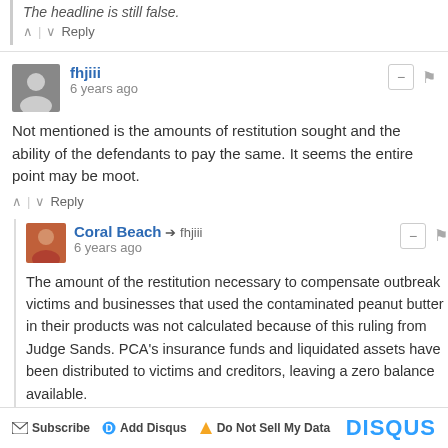The headline is still false.
^ | v Reply
fhjiii • 6 years ago
Not mentioned is the amounts of restitution sought and the ability of the defendants to pay the same. It seems the entire point may be moot.
^ | v Reply
Coral Beach → fhjiii • 6 years ago
The amount of the restitution necessary to compensate outbreak victims and businesses that used the contaminated peanut butter in their products was not calculated because of this ruling from Judge Sands. PCA's insurance funds and liquidated assets have been distributed to victims and creditors, leaving a zero balance available.
^ | v Reply
Subscribe  Add Disqus  Do Not Sell My Data  DISQUS